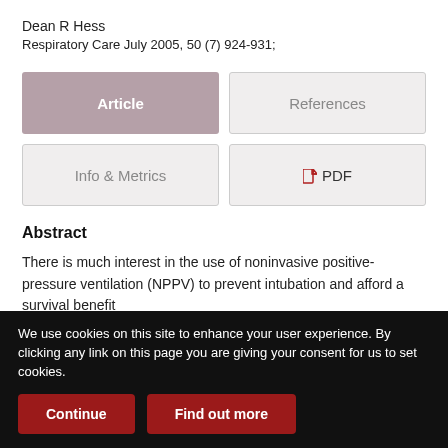Dean R Hess
Respiratory Care July 2005, 50 (7) 924-931;
[Figure (screenshot): Navigation button tabs: Article (active/highlighted), References, Info & Metrics, PDF]
Abstract
There is much interest in the use of noninvasive positive-pressure ventilation (NPPV) to prevent intubation and afford a survival benefit
We use cookies on this site to enhance your user experience. By clicking any link on this page you are giving your consent for us to set cookies.